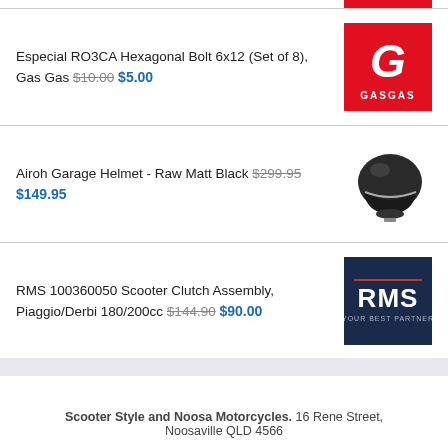Especial RO3CA Hexagonal Bolt 6x12 (Set of 8), Gas Gas $10.00 $5.00
[Figure (logo): GasGas red logo with white G and GASGAS text]
Airoh Garage Helmet - Raw Matt Black $299.95 $149.95
[Figure (photo): Black open-face motorcycle helmet, Airoh Garage Raw Matt Black]
RMS 100360050 Scooter Clutch Assembly, Piaggio/Derbi 180/200cc $144.90 $90.00
[Figure (logo): RMS dark navy logo with RMS text and YOUR BEST PARTNER tagline]
Scooter Style and Noosa Motorcycles. 16 Rene Street, Noosaville QLD 4566